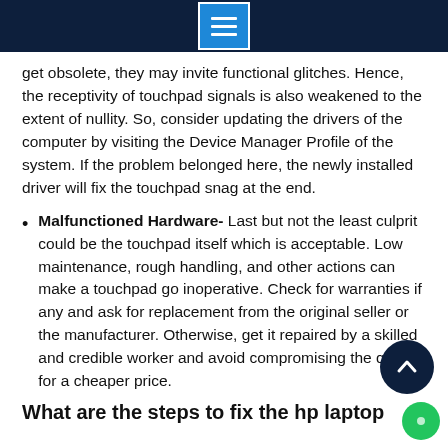[navigation menu icon]
get obsolete, they may invite functional glitches. Hence, the receptivity of touchpad signals is also weakened to the extent of nullity. So, consider updating the drivers of the computer by visiting the Device Manager Profile of the system. If the problem belonged here, the newly installed driver will fix the touchpad snag at the end.
Malfunctioned Hardware- Last but not the least culprit could be the touchpad itself which is acceptable. Low maintenance, rough handling, and other actions can make a touchpad go inoperative. Check for warranties if any and ask for replacement from the original seller or the manufacturer. Otherwise, get it repaired by a skilled and credible worker and avoid compromising the quality for a cheaper price.
What are the steps to fix the hp laptop